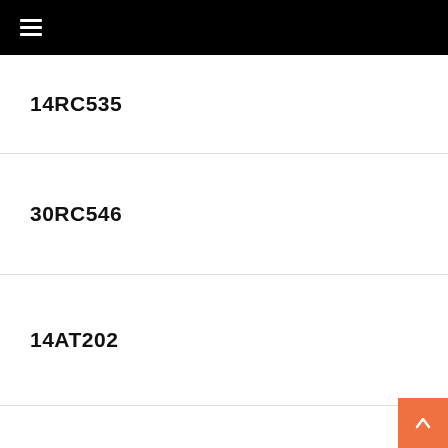≡
14RC535
30RC546
14AT202
13DX10